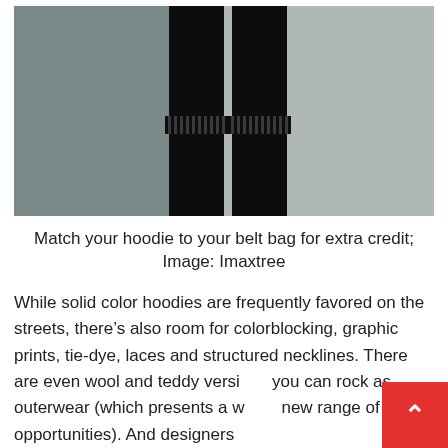[Figure (photo): Fashion street style photo showing legs in black fringe pants and black high-heeled ankle boots, against a grey concrete wall background]
Match your hoodie to your belt bag for extra credit; Image: Imaxtree
While solid color hoodies are frequently favored on the streets, there’s also room for colorblocking, graphic prints, tie-dye, laces and structured necklines. There are even wool and teddy versions you can rock as outerwear (which presents a whole new range of styling opportunities). And designers